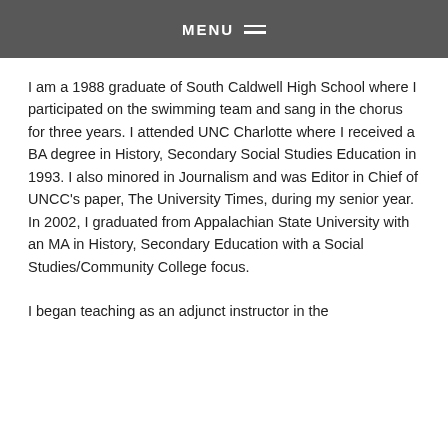MENU
I am a 1988 graduate of South Caldwell High School where I participated on the swimming team and sang in the chorus for three years. I attended UNC Charlotte where I received a BA degree in History, Secondary Social Studies Education in 1993. I also minored in Journalism and was Editor in Chief of UNCC's paper, The University Times, during my senior year. In 2002, I graduated from Appalachian State University with an MA in History, Secondary Education with a Social Studies/Community College focus.
I began teaching as an adjunct instructor in the